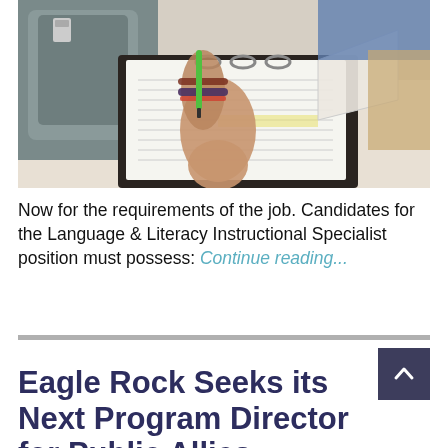[Figure (photo): Student writing in a binder/notebook at a desk, with a backpack visible in the background. The student is wearing bracelets and holding a green pen/marker.]
Now for the requirements of the job. Candidates for the Language & Literacy Instructional Specialist position must possess: Continue reading...
Eagle Rock Seeks its Next Program Director for Public Allies